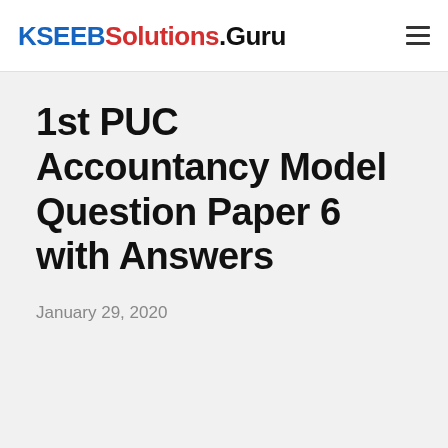KSEEBSolutions.Guru
1st PUC Accountancy Model Question Paper 6 with Answers
January 29, 2020